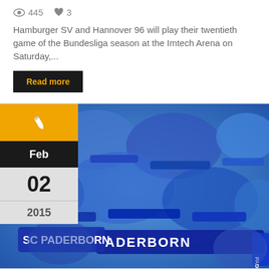445  3
Hamburger SV and Hannover 96 will play their twentieth game of the Bundesliga season at the Imtech Arena on Saturday,...
Read more
[Figure (photo): Football fans holding SC Paderborn scarves in blue, crowd scene at a stadium]
Feb 02 2015